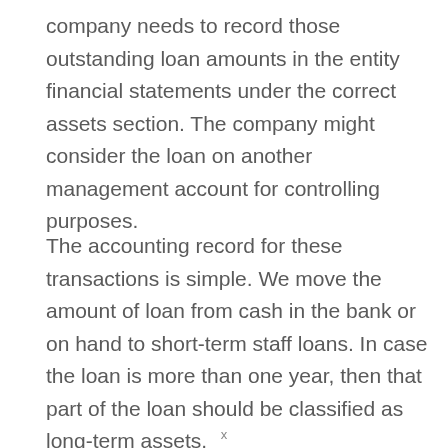company needs to record those outstanding loan amounts in the entity financial statements under the correct assets section. The company might consider the loan on another management account for controlling purposes.
The accounting record for these transactions is simple. We move the amount of loan from cash in the bank or on hand to short-term staff loans. In case the loan is more than one year, then that part of the loan should be classified as long-term assets.
x